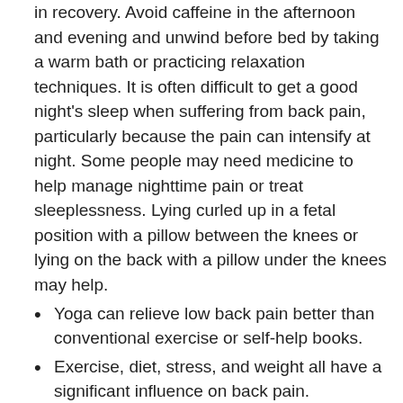in recovery. Avoid caffeine in the afternoon and evening and unwind before bed by taking a warm bath or practicing relaxation techniques. It is often difficult to get a good night's sleep when suffering from back pain, particularly because the pain can intensify at night. Some people may need medicine to help manage nighttime pain or treat sleeplessness. Lying curled up in a fetal position with a pillow between the knees or lying on the back with a pillow under the knees may help.
Yoga can relieve low back pain better than conventional exercise or self-help books.
Exercise, diet, stress, and weight all have a significant influence on back pain. Changing certain lifestyle factors can help reduce, and possibly prevent, backaches.
Quit Smoking